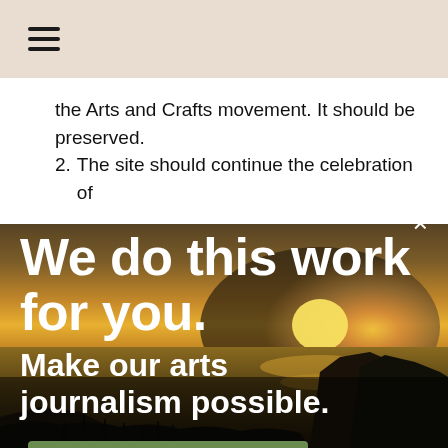☰
the Arts and Crafts movement. It should be preserved.
2. The site should continue the celebration of
[Figure (photo): Sunset coastal landscape with silhouetted rocky headland and dramatic golden sky over water]
×
We do this work for you.
Make our arts journalism possible.
DONATE TODAY